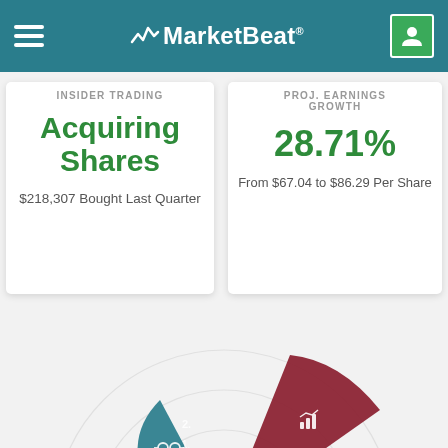MarketBeat
INSIDER TRADING
Acquiring Shares
$218,307 Bought Last Quarter
PROJ. EARNINGS GROWTH
28.71%
From $67.04 to $86.29 Per Share
[Figure (radar-chart): Radar/spider chart with multiple colored wedge segments representing different financial metrics including insider trading, earnings growth, and other indicators. Segments shown in dark red, teal, green, purple, dark green, brown colors with icons.]